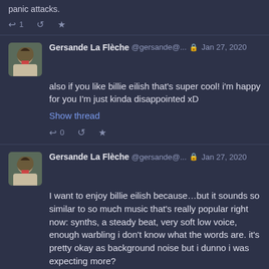panic attacks.
↩ 1  🔁  ★
Gersande La Flèche @gersande@... 🔒 Jan 27, 2020
also if you like billie eilish that's super cool! i'm happy for you I'm just kinda disappointed xD
Show thread
↩ 0  🔁  ★
Gersande La Flèche @gersande@... 🔒 Jan 27, 2020
I want to enjoy billie eilish because…but it sounds so similar to so much music that's really popular right now: synths, a steady beat, very soft low voice, enough warbling i don't know what the words are. it's pretty okay as background noise but i dunno i was expecting more?
↩ 1  🔁  ★
Gersande La Flèche @gersande@ 🔒 Jan 27, 2020